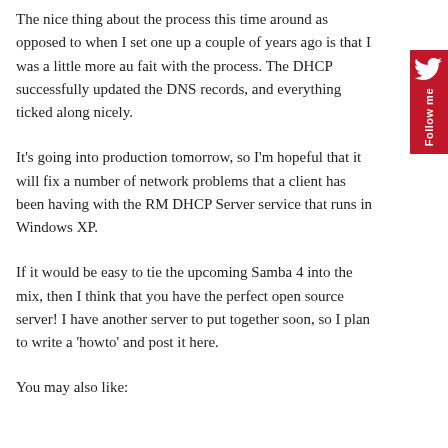The nice thing about the process this time around as opposed to when I set one up a couple of years ago is that I was a little more au fait with the process. The DHCP successfully updated the DNS records, and everything ticked along nicely.
It's going into production tomorrow, so I'm hopeful that it will fix a number of network problems that a client has been having with the RM DHCP Server service that runs in Windows XP.
If it would be easy to tie the upcoming Samba 4 into the mix, then I think that you have the perfect open source server! I have another server to put together soon, so I plan to write a 'howto' and post it here.
You may also like:
[Figure (other): Red vertical sidebar with a white bird icon (Twitter/social) and rotated 'Follow me' text in white on red background.]